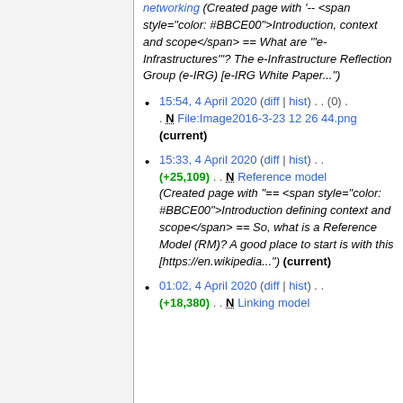networking (Created page with '-- <span style="color: #BBCE00">Introduction, context and scope</span> == What are "'e-Infrastructures"'? The e-Infrastructure Reflection Group (e-IRG) [e-IRG White Paper...")
15:54, 4 April 2020 (diff | hist) . . (0) . . N File:Image2016-3-23 12 26 44.png (current)
15:33, 4 April 2020 (diff | hist) . . (+25,109) . . N Reference model (Created page with "== <span style="color: #BBCE00">Introduction defining context and scope</span> == So, what is a Reference Model (RM)? A good place to start is with this [https://en.wikipedia...") (current)
01:02, 4 April 2020 (diff | hist) . . (+18,380) . . N Linking model